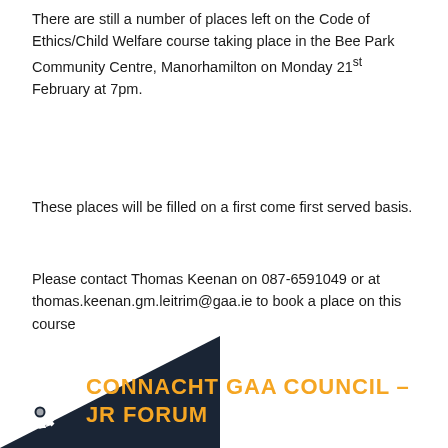There are still a number of places left on the Code of Ethics/Child Welfare course taking place in the Bee Park Community Centre, Manorhamilton on Monday 21st February at 7pm.
These places will be filled on a first come first served basis.
Please contact Thomas Keenan on 087-6591049 or at thomas.keenan.gm.leitrim@gaa.ie to book a place on this course
19-Feb-11 by Colette Fox – PRO
19TH FEBRUARY 2011
CONNACHT GAA COUNCIL – JR FORUM